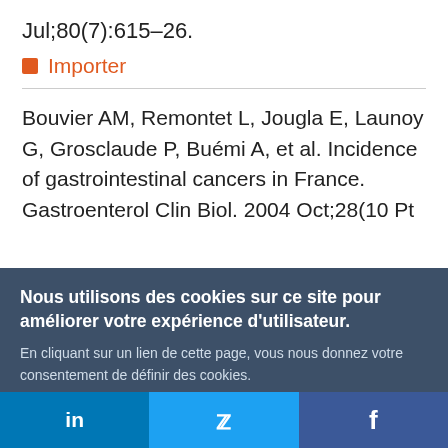Jul;80(7):615–26.
Importer
Bouvier AM, Remontet L, Jougla E, Launoy G, Grosclaude P, Buémi A, et al. Incidence of gastrointestinal cancers in France. Gastroenterol Clin Biol. 2004 Oct;28(10 Pt
Nous utilisons des cookies sur ce site pour améliorer votre expérience d'utilisateur. En cliquant sur un lien de cette page, vous nous donnez votre consentement de définir des cookies.
Oui, je suis d'accord
Plus d'infos